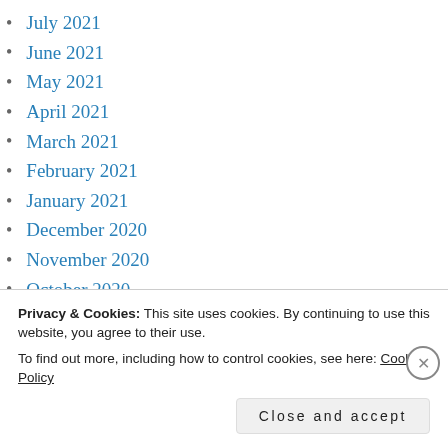July 2021
June 2021
May 2021
April 2021
March 2021
February 2021
January 2021
December 2020
November 2020
October 2020
September 2020
August 2020
July 2020
Privacy & Cookies: This site uses cookies. By continuing to use this website, you agree to their use.
To find out more, including how to control cookies, see here: Cookie Policy
Close and accept